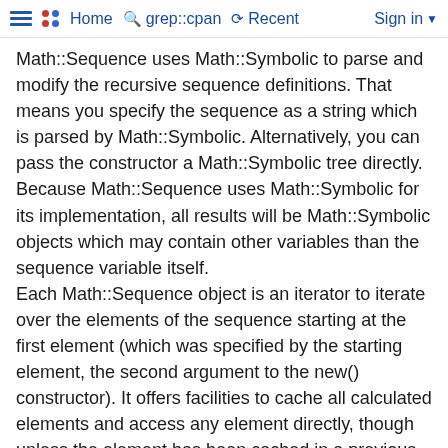≡ •• Home 🔍 grep::cpan ↺ Recent Sign in ▾
Math::Sequence uses Math::Symbolic to parse and modify the recursive sequence definitions. That means you specify the sequence as a string which is parsed by Math::Symbolic. Alternatively, you can pass the constructor a Math::Symbolic tree directly.
Because Math::Sequence uses Math::Symbolic for its implementation, all results will be Math::Symbolic objects which may contain other variables than the sequence variable itself.
Each Math::Sequence object is an iterator to iterate over the elements of the sequence starting at the first element (which was specified by the starting element, the second argument to the new() constructor). It offers facilities to cache all calculated elements and access any element directly, though unless the element has been cached in a previous calculation, this is just a shortcut for repeated use of